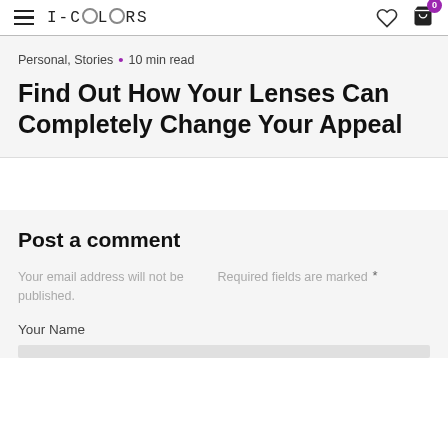i-COLORS
Personal, Stories • 10 min read
Find Out How Your Lenses Can Completely Change Your Appeal
Post a comment
Your email address will not be published. Required fields are marked *
Your Name